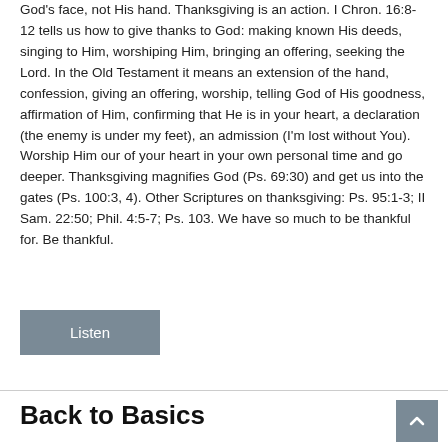God's face, not His hand. Thanksgiving is an action. I Chron. 16:8-12 tells us how to give thanks to God: making known His deeds, singing to Him, worshiping Him, bringing an offering, seeking the Lord. In the Old Testament it means an extension of the hand, confession, giving an offering, worship, telling God of His goodness, affirmation of Him, confirming that He is in your heart, a declaration (the enemy is under my feet), an admission (I'm lost without You). Worship Him our of your heart in your own personal time and go deeper. Thanksgiving magnifies God (Ps. 69:30) and get us into the gates (Ps. 100:3, 4). Other Scriptures on thanksgiving: Ps. 95:1-3; II Sam. 22:50; Phil. 4:5-7; Ps. 103. We have so much to be thankful for. Be thankful.
Listen
Back to Basics